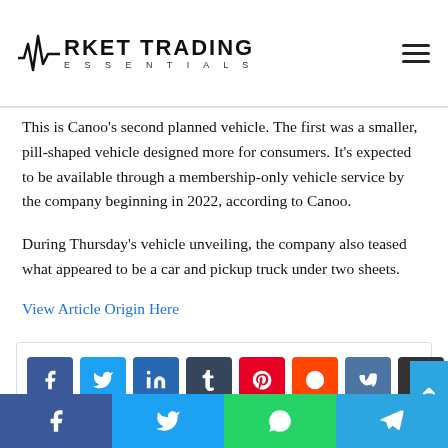Market Trading Essentials
This is Canoo's second planned vehicle. The first was a smaller, pill-shaped vehicle designed more for consumers. It's expected to be available through a membership-only vehicle service by the company beginning in 2022, according to Canoo.
During Thursday's vehicle unveiling, the company also teased what appeared to be a car and pickup truck under two sheets.
View Article Origin Here
[Figure (infographic): Social share buttons: Facebook, Twitter, LinkedIn, Tumblr, Pinterest, Reddit, VK, Email, Print]